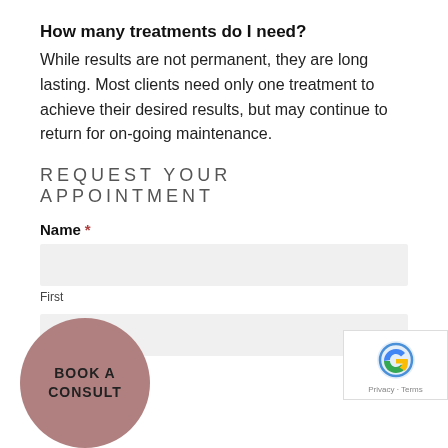How many treatments do I need?
While results are not permanent, they are long lasting. Most clients need only one treatment to achieve their desired results, but may continue to return for on-going maintenance.
REQUEST YOUR APPOINTMENT
Name *
First
Email *